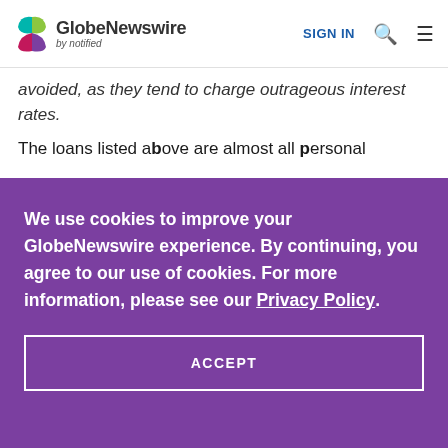GlobeNewswire by notified | SIGN IN
avoided, as they tend to charge outrageous interest rates.
The loans listed above are almost all personal
We use cookies to improve your GlobeNewswire experience. By continuing, you agree to our use of cookies. For more information, please see our Privacy Policy.
ACCEPT